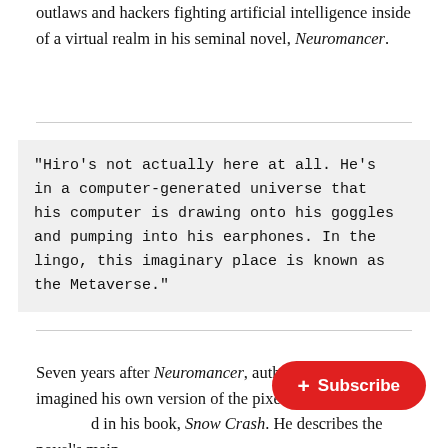outlaws and hackers fighting artificial intelligence inside of a virtual realm in his seminal novel, Neuromancer.
“Hiro’s not actually here at all. He’s in a computer-generated universe that his computer is drawing onto his goggles and pumping into his earphones. In the lingo, this imaginary place is known as the Metaverse.”
Seven years after Neuromancer, auth imagined his own version of the pixe in his book, Snow Crash. He describes the novel’s main